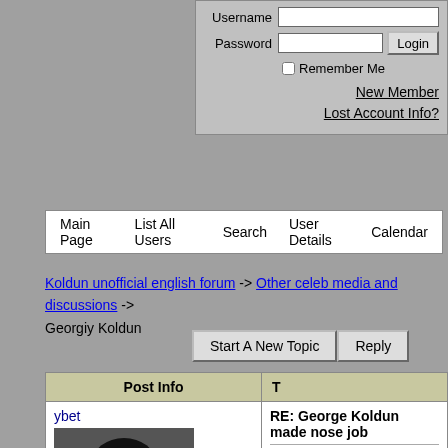Username / Password / Remember Me / Login / New Member / Lost Account Info?
Main Page | List All Users | Search | User Details | Calendar
Koldun unofficial english forum -> Other celeb media and discussions -> Georgiy Koldun
Start A New Topic | Reply
| Post Info | T |
| --- | --- |
| ybet
[avatar]
Koldunistrator
♪ ♪ ♪ ♪ ♪
Status: Offline
Posts: 13342 | RE: George Koldun made nose job
that makes me sleep hehe xD

It's not final destinat... |